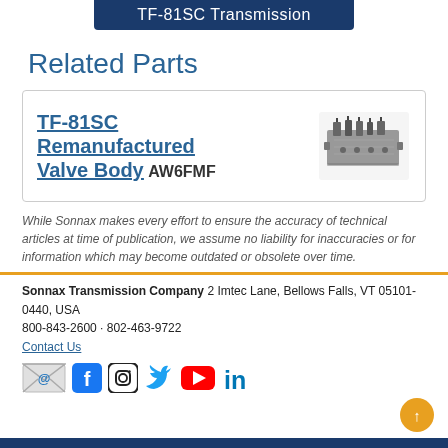TF-81SC Transmission
Related Parts
TF-81SC Remanufactured Valve Body AW6FMF
[Figure (photo): Photo of TF-81SC Remanufactured Valve Body part]
While Sonnax makes every effort to ensure the accuracy of technical articles at time of publication, we assume no liability for inaccuracies or for information which may become outdated or obsolete over time.
Sonnax Transmission Company 2 Imtec Lane, Bellows Falls, VT 05101-0440, USA 800-843-2600 · 802-463-9722 Contact Us